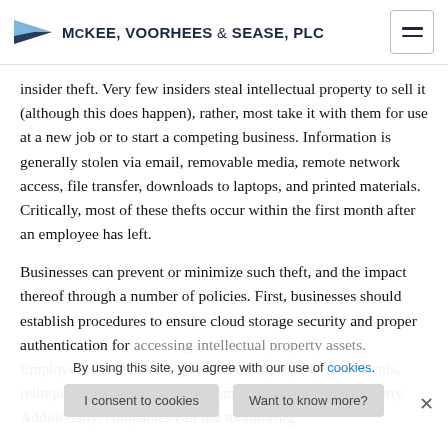McKEE, VOORHEES & SEASE, PLC
insider theft. Very few insiders steal intellectual property to sell it (although this does happen), rather, most take it with them for use at a new job or to start a competing business. Information is generally stolen via email, removable media, remote network access, file transfer, downloads to laptops, and printed materials. Critically, most of these thefts occur within the first month after an employee has left.
Businesses can prevent or minimize such theft, and the impact thereof through a number of policies. First, businesses should establish procedures to ensure cloud storage security and proper authentication for accessing intellectual property assets. Employees should also sign intellectual property agreements, relinquishing all claims to the company's intellectual property. Additionally, companies can use monitoring
By using this site, you agree with our use of cookies.
I consent to cookies
Want to know more?